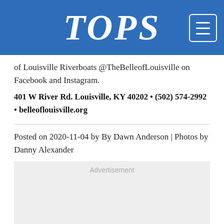TOPS
of Louisville Riverboats @TheBelleofLouisville on Facebook and Instagram.
401 W River Rd. Louisville, KY 40202 • (502) 574-2992 • belleoflouisville.org
Posted on 2020-11-04 by By Dawn Anderson | Photos by Danny Alexander
[Figure (other): Advertisement placeholder box with light gray background and 'Advertisement' label]